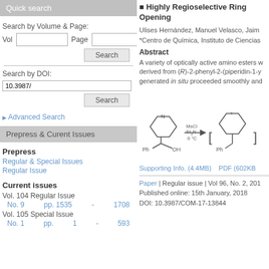Quick search
Search by Volume & Page:
Vol      Page
Search
Search by DOI:
10.3987/
Search
Advanced Search
Prepress & Curent Issues
Prepress
Regular & Special Issues
Regular Issue
Current issues
Vol. 104 Regular Issue
No. 9      pp. 1535  -  1708
Vol. 105 Special Issue
No. 1      pp.  1  -  593
■ Highly Regioselective Ring Opening
Ulises Hernández, Manuel Velasco, Jaim
*Centro de Química, Instituto de Ciencias
Abstract
A variety of optically active amino esters were derived from (R)-2-phenyl-2-(piperidin-1-y generated in situ proceeded smoothly and
[Figure (engineering-diagram): Chemical reaction diagram showing a piperidine-phenyl compound reacting with MsCl, Et3N at 0°C to form an intermediate product. Structures shown with Ph group.]
Supporting Info. (4.4MB)    PDF (602KB
Paper | Regular issue | Vol 96, No. 2, 2018
Published online: 15th January, 2018
DOI: 10.3987/COM-17-13844